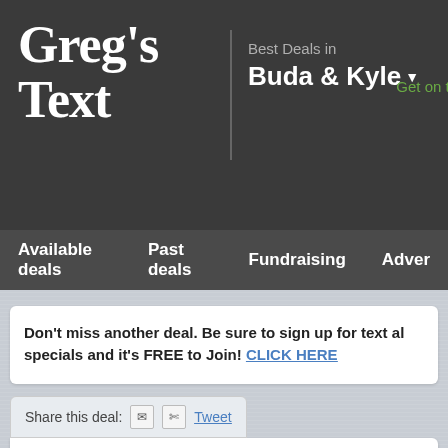Greg's Text
Best Deals in Buda & Kyle
Get on th
Available deals   Past deals   Fundraising   Adver
Don't miss another deal. Be sure to sign up for text al specials and it's FREE to Join! CLICK HERE
Share this deal: [email icon] [scissors icon] Tweet
50% OFF Admission for T Austin Zoo